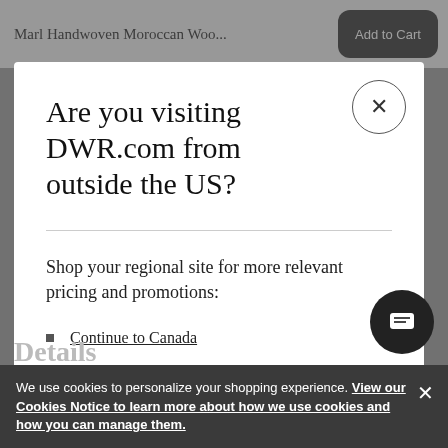Marl Handwoven Moroccan Woo...
Are you visiting DWR.com from outside the US?
Shop your regional site for more relevant pricing and promotions:
Continue to Canada
Continue to United States
We use cookies to personalize your shopping experience. View our Cookies Notice to learn more about how we use cookies and how you can manage them.